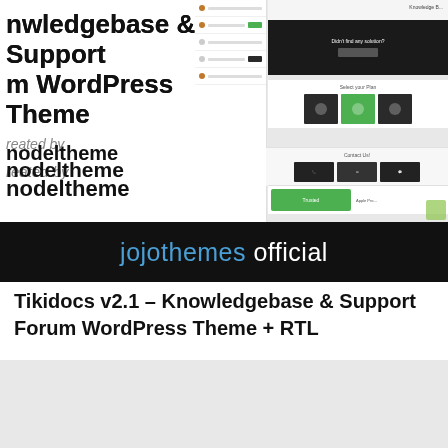[Figure (screenshot): Screenshot of a WordPress theme preview page showing 'Knowledgebase & Support Forum WordPress Theme' text on the left, created by 'modeltheme', with website UI mockups on the right, and a black banner at the bottom reading 'jojothemes official']
Tikidocs v2.1 – Knowledgebase & Support Forum WordPress Theme + RTL
[Figure (screenshot): Partial screenshot of a second item, mostly showing a light grey placeholder area]